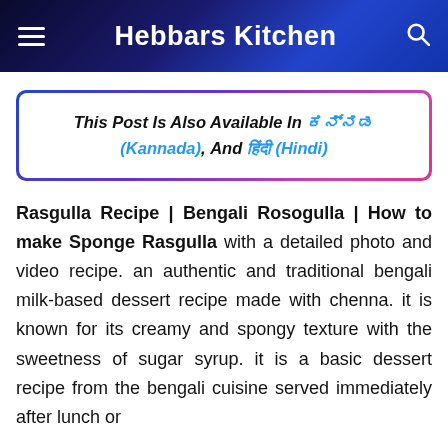Hebbars Kitchen
This Post Is Also Available In ಕನ್ನಡ (Kannada), And हिंदी (Hindi)
Rasgulla Recipe | Bengali Rosogulla | How to make Sponge Rasgulla with a detailed photo and video recipe. an authentic and traditional bengali milk-based dessert recipe made with chenna. it is known for its creamy and spongy texture with the sweetness of sugar syrup. it is a basic dessert recipe from the bengali cuisine served immediately after lunch or